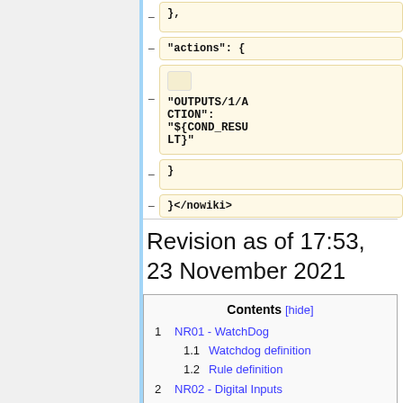[Figure (screenshot): Code block showing '},' with minus indicator]
[Figure (screenshot): Code block showing '"actions": {' with minus indicator]
[Figure (screenshot): Code block showing '"OUTPUTS/1/ACTION": "${COND_RESULT}"' with minus indicator and inner box]
[Figure (screenshot): Code block showing '}' with minus indicator]
[Figure (screenshot): Code block showing '}</nowiki>' with minus indicator]
Revision as of 17:53, 23 November 2021
1  NR01 - WatchDog
1.1  Watchdog definition
1.2  Rule definition
2  NR02 - Digital Inputs